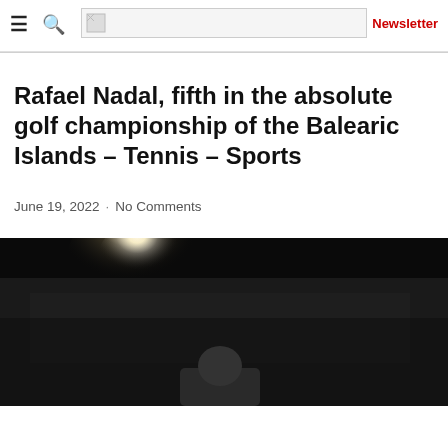[Figure (logo): Website logo placeholder image with broken image icon]
Newsletter
Rafael Nadal, fifth in the absolute golf championship of the Balearic Islands – Tennis – Sports
June 19, 2022 · No Comments
[Figure (photo): Night sports event photo showing a bright floodlight against a dark sky with crowd in background and a person visible in foreground]